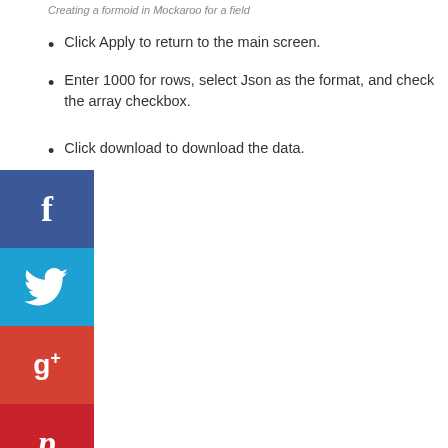Creating a formoid in Mockaroo for a field
Click Apply to return to the main screen.
Enter 1000 for rows, select Json as the format, and check the array checkbox.
Click download to download the data.
[Figure (infographic): Social media sharing sidebar with Facebook, Twitter, Google+, Pinterest, Reddit, and Email buttons, plus a collapse arrow]